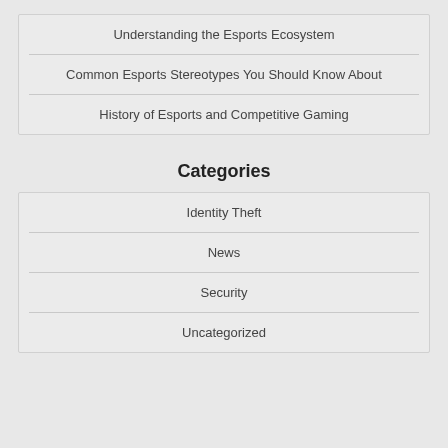Understanding the Esports Ecosystem
Common Esports Stereotypes You Should Know About
History of Esports and Competitive Gaming
Categories
Identity Theft
News
Security
Uncategorized